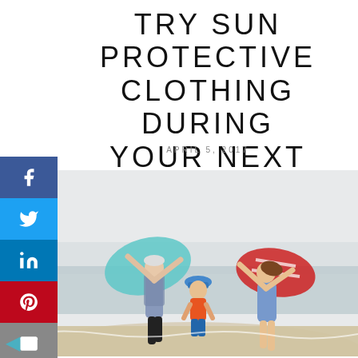TRY SUN PROTECTIVE CLOTHING DURING YOUR NEXT SNORKELING TRIP
APRIL 5, 2017
[Figure (photo): Three people running on a beach: an older woman in a floral shirt holding a teal cloth, a young boy in an orange rash guard and blue hat, and a woman in a blue patterned swimsuit holding a red and white striped towel.]